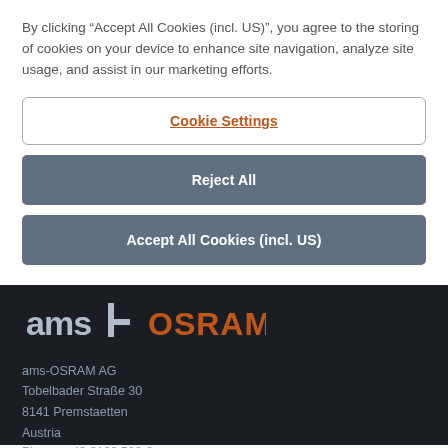By clicking “Accept All Cookies (incl. US)”, you agree to the storing of cookies on your device to enhance site navigation, analyze site usage, and assist in our marketing efforts.
Cookie Settings
Reject All
Accept All Cookies (incl. US)
[Figure (logo): ams-OSRAM combined logo with 'ams' wordmark and 'OSRAM' in orange on dark background]
ams-OSRAM AG
Tobelbader Straße 30
8141 Premstaetten
Austria
Phone: +43 3136 500-0